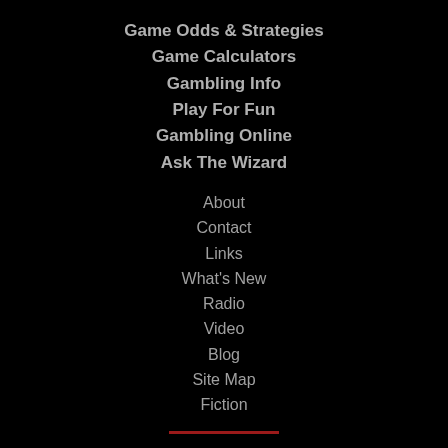Game Odds & Strategies
Game Calculators
Gambling Info
Play For Fun
Gambling Online
Ask The Wizard
About
Contact
Links
What's New
Radio
Video
Blog
Site Map
Fiction
[Figure (logo): GamCare logo with white G icon and GamCare text in white]
[Figure (logo): Gamble+ logo with G+ icon and GAMBLE text, partially visible]